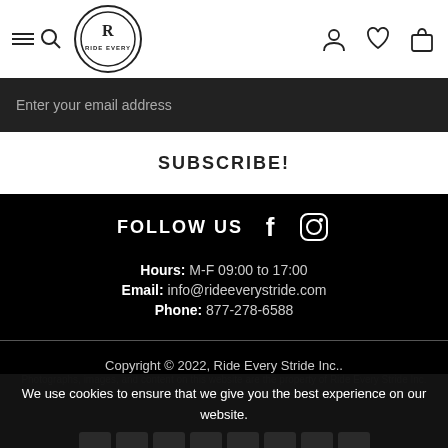[Figure (screenshot): Website navigation bar with hamburger/search icon on left, circular logo in center-left, and user/wishlist/cart icons on right]
Enter your email address
SUBSCRIBE!
FOLLOW US
[Figure (logo): Facebook icon]
[Figure (logo): Instagram icon]
Hours: M-F 09:00 to 17:00
Email: info@rideeverystride.com
Phone: 877-278-6588
Copyright © 2022, Ride Every Stride Inc..
Photographs, images, and content on this website are the property of Ride Every Stride Inc. and are subject to copyright laws.
We use cookies to ensure that we give you the best experience on our website.
PRIVACY POLICY
ACCEPT ✓
↑ TOP